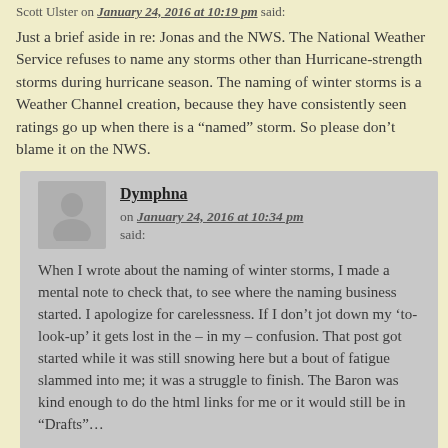Scott Ulster on January 24, 2016 at 10:19 pm said:
Just a brief aside in re: Jonas and the NWS. The National Weather Service refuses to name any storms other than Hurricane-strength storms during hurricane season. The naming of winter storms is a Weather Channel creation, because they have consistently seen ratings go up when there is a “named” storm. So please don’t blame it on the NWS.
Dymphna on January 24, 2016 at 10:34 pm said:
When I wrote about the naming of winter storms, I made a mental note to check that, to see where the naming business started. I apologize for carelessness. If I don’t jot down my ‘to-look-up’ it gets lost in the – in my – confusion. That post got started while it was still snowing here but a bout of fatigue slammed into me; it was a struggle to finish. The Baron was kind enough to do the html links for me or it would still be in “Drafts”…